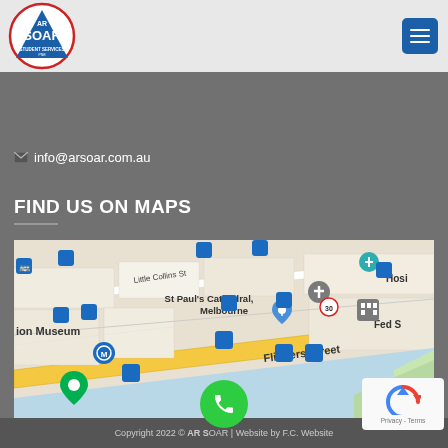[Figure (logo): AR SOAR Student Services logo — triangle shape with red arc, blue triangle, white text SOAR, AR above, STUDENT SERVICES below]
info@arsoar.com.au
FIND US ON MAPS
[Figure (map): Google Maps screenshot showing Melbourne CBD area around Flinders Street, St Paul's Cathedral, Federation Square, Yarra River, and Melbourne Skydeck]
Copyright 2022 © AR SOAR | Website by F.C. Website